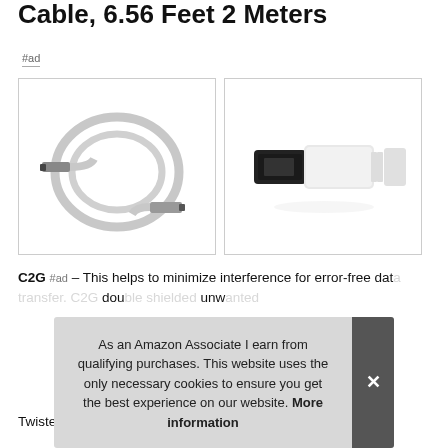Cable, 6.56 Feet 2 Meters
#ad
[Figure (photo): White USB cable coiled in a circle with connectors at each end, product photo on white background]
[Figure (photo): Close-up of USB cable connectors, showing black and white USB plugs, product photo on white background]
C2G #ad – This helps to minimize interference for error-free data transfer. double shielded to block unwanted
Twisted pair construction – helps reduce crosstalk
As an Amazon Associate I earn from qualifying purchases. This website uses the only necessary cookies to ensure you get the best experience on our website. More information